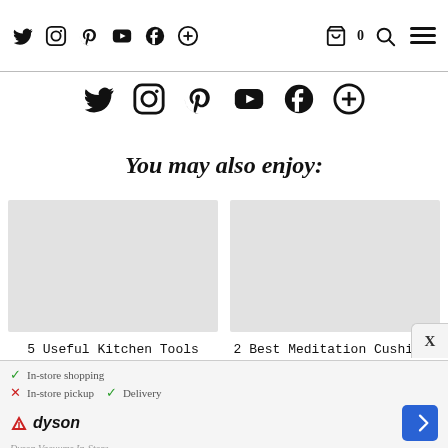Navigation bar with social icons: Twitter, Instagram, Pinterest, YouTube, Facebook, Plus, Cart (0), Search, and Hamburger menu
[Figure (illustration): Social media icons row: Twitter, Instagram, Pinterest, YouTube, Facebook, Plus]
You may also enjoy:
[Figure (illustration): Placeholder image for article: 5 Useful Kitchen Tools That You Will Actually ...]
5 Useful Kitchen Tools That You Will Actually ...
[Figure (illustration): Placeholder image for article: 2 Best Meditation Cushions to Support Your Yoga ...]
2 Best Meditation Cushions to Support Your Yoga ...
[Figure (screenshot): Ad banner: Dyson product store pickup and delivery info with navigation icon. Text: In-store shopping (check), In-store pickup (cross), Delivery (check). Dyson logo. Dyson Vacuums In-Store... text partially visible]